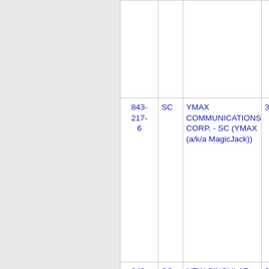| Number | ST | Name | Code |
| --- | --- | --- | --- |
|  |  |  |  |
| 843-217-6 | SC | YMAX COMMUNICATIONS CORP. - SC (YMAX (a/k/a MagicJack)) | 364E |
| 843-217-7 | SC | NEW CINGULAR WIRELESS PCS, LLC (AT&T Wireless) | 6214 |